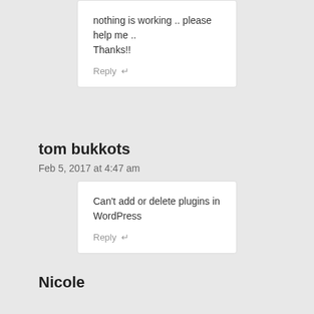nothing is working .. please help me ..
Thanks!!
Reply ↵
tom bukkots
Feb 5, 2017 at 4:47 am
Can't add or delete plugins in WordPress
Reply ↵
Nicole